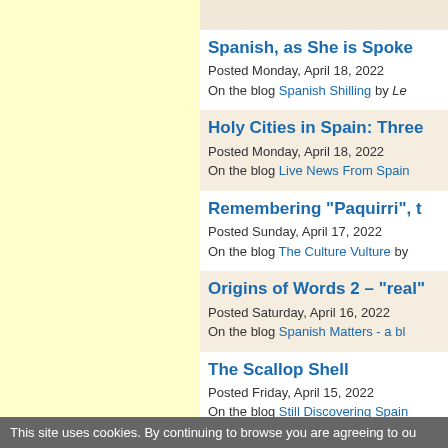(top bar partially visible)
Spanish, as She is Spoke — Posted Monday, April 18, 2022 — On the blog Spanish Shilling by Le...
Holy Cities in Spain: Three... — Posted Monday, April 18, 2022 — On the blog Live News From Spain...
Remembering "Paquirri", t... — Posted Sunday, April 17, 2022 — On the blog The Culture Vulture by...
Origins of Words 2 – "real"... — Posted Saturday, April 16, 2022 — On the blog Spanish Matters - a bl...
The Scallop Shell — Posted Friday, April 15, 2022 — On the blog Still Discovering Spain...
This site uses cookies. By continuing to browse you are agreeing to ou...